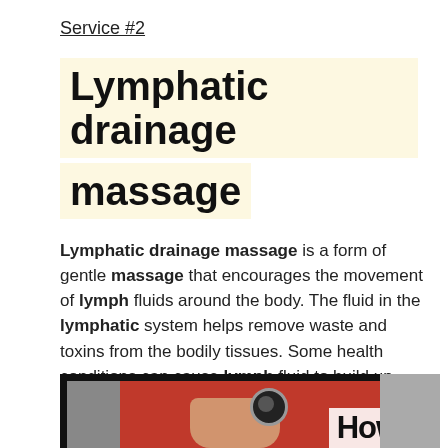Service #2
Lymphatic drainage massage
Lymphatic drainage massage is a form of gentle massage that encourages the movement of lymph fluids around the body. The fluid in the lymphatic system helps remove waste and toxins from the bodily tissues. Some health conditions can cause lymph fluid to build up
[Figure (photo): Photo of a person wearing red clothing and a watch, with text overlay reading 'How to']